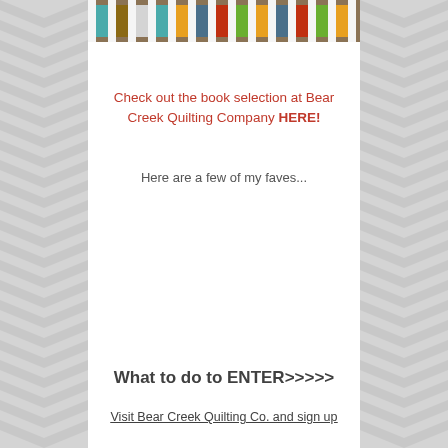[Figure (photo): Photo of quilts/quilted fabrics on a crib or rack, showing colorful chevron and patterned fabric]
Check out the book selection at Bear Creek Quilting Company HERE!
Here are a few of my faves...
What to do to ENTER>>>>>
Visit Bear Creek Quilting Co. and sign up